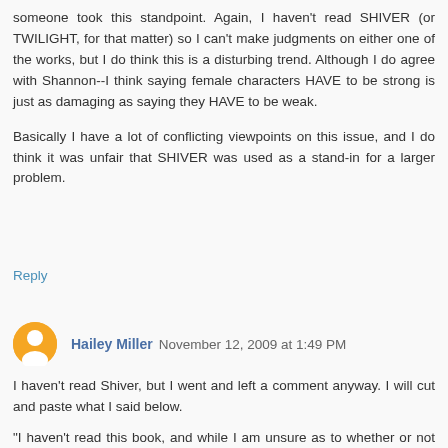someone took this standpoint. Again, I haven't read SHIVER (or TWILIGHT, for that matter) so I can't make judgments on either one of the works, but I do think this is a disturbing trend. Although I do agree with Shannon--I think saying female characters HAVE to be strong is just as damaging as saying they HAVE to be weak.
Basically I have a lot of conflicting viewpoints on this issue, and I do think it was unfair that SHIVER was used as a stand-in for a larger problem.
Reply
Hailey Miller  November 12, 2009 at 1:49 PM
I haven't read Shiver, but I went and left a comment anyway. I will cut and paste what I said below.
“I haven’t read this book, and while I am unsure as to whether or not I'll like it, it seems like your whole review was bashing the book. I can respect that you didn't like this book, but was really necessary to go on a hate rant against it? In my opinion, even the most ‘despised’ book on my list